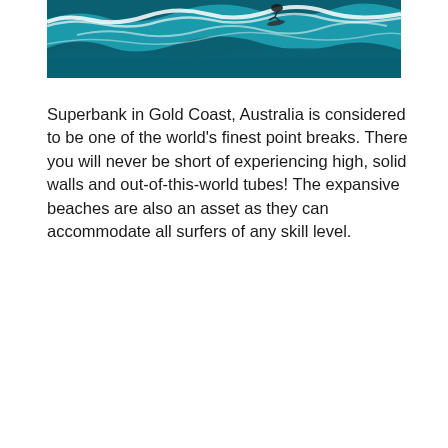[Figure (photo): Aerial view of surfer riding a large ocean wave at Superbank, Gold Coast, Australia. The image shows turquoise water with white foam and a surfer near the top of the frame.]
Superbank in Gold Coast, Australia is considered to be one of the world's finest point breaks. There you will never be short of experiencing high, solid walls and out-of-this-world tubes! The expansive beaches are also an asset as they can accommodate all surfers of any skill level.